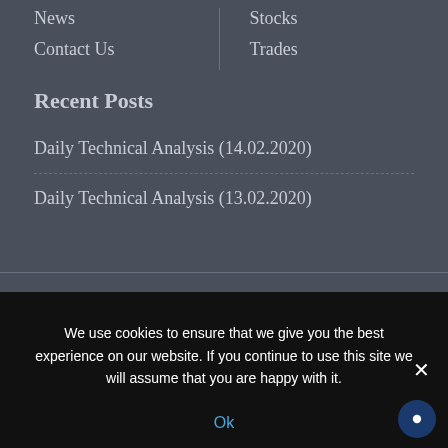News
Contact Us
Stocks
Trades
Recent Posts
Daily Technical Analysis (14.02.2020)
Daily Technical Analysis (13.02.2020)
Facebook  Twitter  LinkedIn  Google+  Inst…
We use cookies to ensure that we give you the best experience on our website. If you continue to use this site we will assume that you are happy with it.
Ok